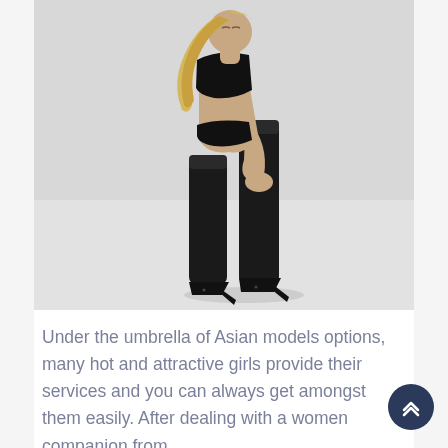[Figure (photo): A blonde woman in black lingerie, black thigh-high stockings, and black high heels, bending forward against a light gray background.]
Under the umbrella of Asian models options, many hot and attractive girls provide their services and you can always get amongst them easily. After dealing with a women companion from